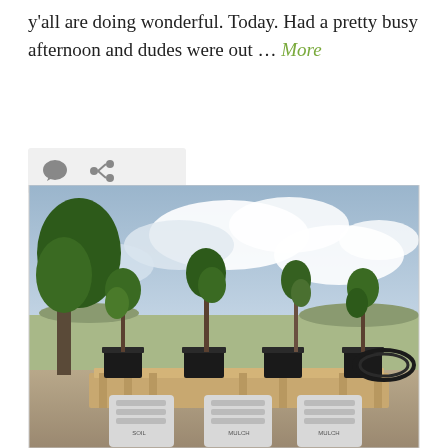y'all are doing wonderful. Today. Had a pretty busy afternoon and dudes were out … More
[Figure (other): Social media icon bar with comment bubble and share/link icons on a light gray background]
[Figure (photo): Outdoor photo showing several small trees and shrubs in black plastic pots on a wooden pallet, with bags of soil/mulch, coiled irrigation tubing, a house and open landscape visible in the background under a cloudy sky]